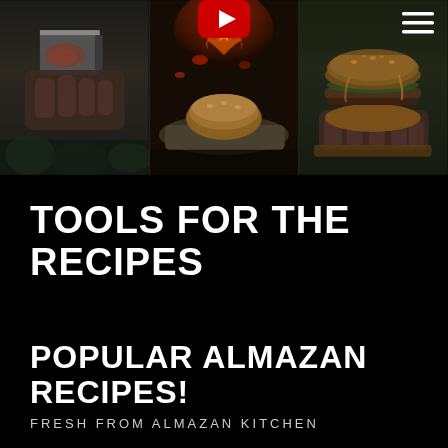[Figure (photo): Three-panel image strip: left panel shows hands holding raw meat near a cleaver on dark background; center panel shows a burger/bread on stone surface with flames and a YouTube play button overlay; right panel shows a gourmet burger being held with toppings, and a hamburger menu icon in top right corner.]
TOOLS FOR THE RECIPES
POPULAR ALMAZAN RECIPES!
FRESH FROM ALMAZAN KITCHEN